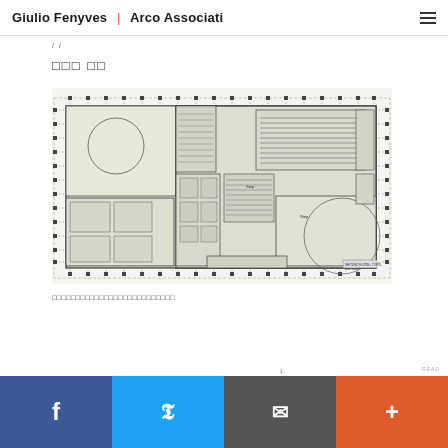Giulio Fenyves | Arco Associati
/ /
□□□□□
[Figure (engineering-diagram): Architectural floor plan drawing showing a large building layout with structural grid lines, rooms, corridors, stairs, circular basketball/sports court outlines, rows of seating/auditorium area, office spaces, and various interior partitions. Detailed technical drawing with dimension markers and dotted grid.]
□□□□□□□□□□□□□□□□□□□□□□□□□□
1
READ